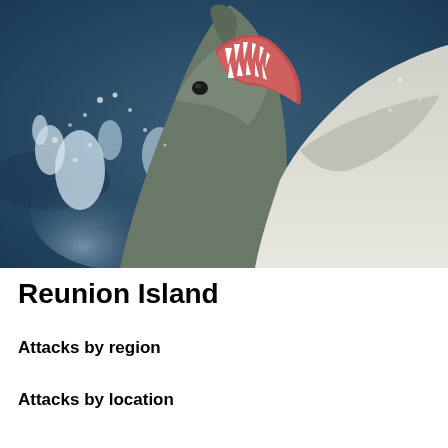[Figure (photo): Close-up photograph of a great white shark leaping out of dark blue ocean water with its mouth wide open showing sharp teeth, water splashing around it]
Reunion Island
Attacks by region
Attacks by location